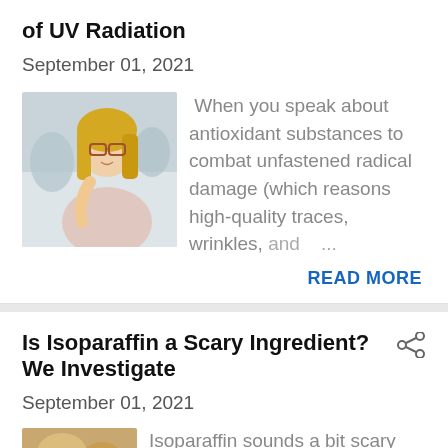of UV Radiation
September 01, 2021
[Figure (photo): A blonde woman applying sunscreen or skincare product outdoors in snowy conditions]
When you speak about antioxidant substances to combat unfastened radical damage (which reasons high-quality traces, wrinkles, and ...
READ MORE
Is Isoparaffin a Scary Ingredient? We Investigate
September 01, 2021
[Figure (photo): Thumbnail image for Isoparaffin article]
Isoparaffin sounds a bit scary and